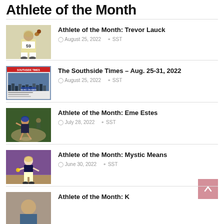Athlete of the Month
Athlete of the Month: Trevor Lauck | August 25, 2022 | SST
The Southside Times – Aug. 25-31, 2022 | August 25, 2022 | SST
Athlete of the Month: Eme Estes | July 28, 2022 | SST
Athlete of the Month: Mystic Means | June 30, 2022 | SST
Athlete of the Month: [partially visible]